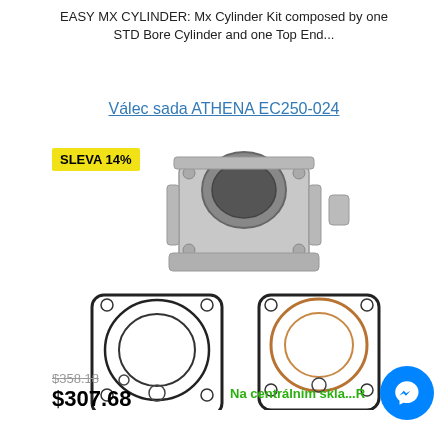EASY MX CYLINDER: Mx Cylinder Kit composed by one STD Bore Cylinder and one Top End...
Válec sada ATHENA EC250-024
SLEVA 14%
[Figure (photo): Product photo of ATHENA EC250-024 cylinder kit showing a metal cylinder block on top and two gaskets (head gaskets) below it]
$358.18
$307.68
Na centrálním skla...R